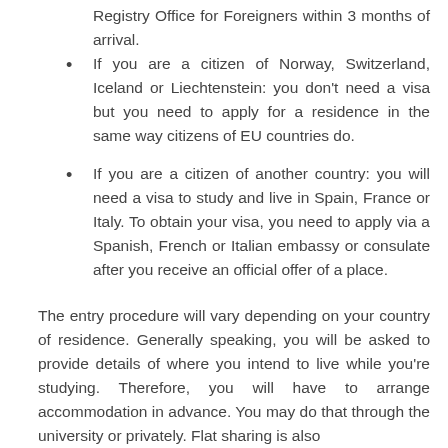Registry Office for Foreigners within 3 months of arrival.
If you are a citizen of Norway, Switzerland, Iceland or Liechtenstein: you don't need a visa but you need to apply for a residence in the same way citizens of EU countries do.
If you are a citizen of another country: you will need a visa to study and live in Spain, France or Italy. To obtain your visa, you need to apply via a Spanish, French or Italian embassy or consulate after you receive an official offer of a place.
The entry procedure will vary depending on your country of residence. Generally speaking, you will be asked to provide details of where you intend to live while you're studying. Therefore, you will have to arrange accommodation in advance. You may do that through the university or privately. Flat sharing is also